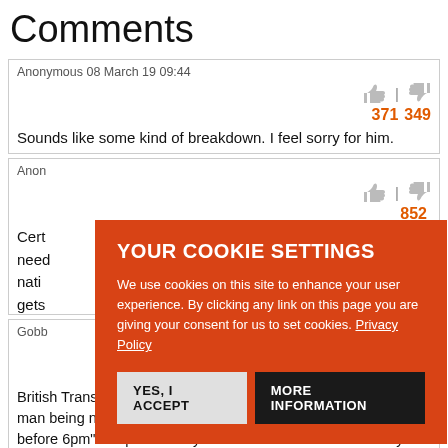Comments
Anonymous 08 March 19 09:44
371  349
Sounds like some kind of breakdown. I feel sorry for him.
Anon... 852
Cert... have need... nati... be gets...
[Figure (screenshot): Cookie consent overlay with orange background reading YOUR COOKIE SETTINGS. Text: We use cookies on this site to enhance your user experience. By clicking any link on this page you are giving your consent for us to set cookies. Privacy Policy. Buttons: YES, I ACCEPT and MORE INFORMATION.]
Gobb...
310  353
British Transport Police said the charge "relates to a report of a man being naked and defecating on board a train service shortly before 6pm". So presumably he would have been absolutely fine to pinch one off from 6pm onwards?